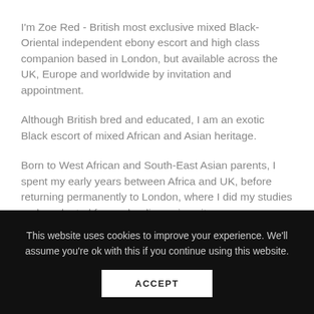I'm Zoe Red - British most exclusive mixed Black-Oriental independent ebony escort and high class companion based in London, but available across the UK, Europe and worldwide by invitation and appointment.
Although British bred and educated, I am an exotic Black escort of mixed African and Asian heritage.
Born to West African and South-East Asian parents, I spent my early years between Africa and UK, before returning permanently to London, where I did my studies and graduated from a leading university.
This website uses cookies to improve your experience. We'll assume you're ok with this if you continue using this website.
ACCEPT